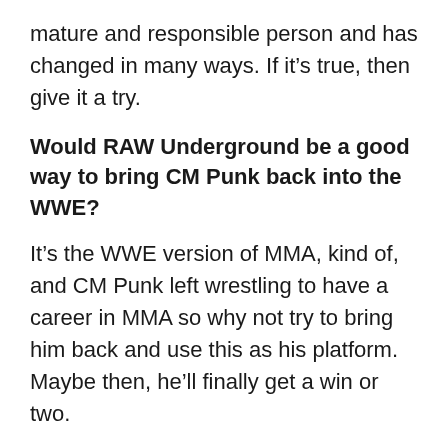mature and responsible person and has changed in many ways. If it's true, then give it a try.
Would RAW Underground be a good way to bring CM Punk back into the WWE?
It's the WWE version of MMA, kind of, and CM Punk left wrestling to have a career in MMA so why not try to bring him back and use this as his platform. Maybe then, he'll finally get a win or two.
And there you go. My thanks for reading and to Cheese and Dave for the questions. Any